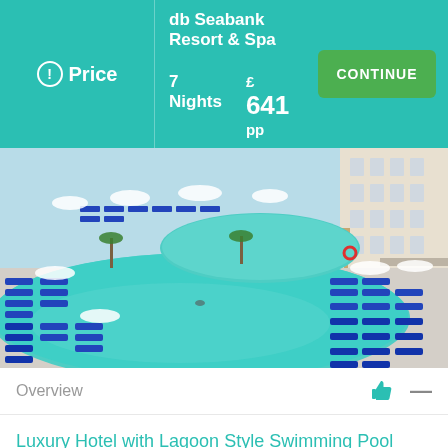db Seabank Resort & Spa — Price — 7 Nights — £641 pp — CONTINUE
[Figure (photo): Aerial view of a large lagoon-style resort swimming pool surrounded by blue sun loungers, umbrellas, and a hotel building in the background]
Overview
Luxury Hotel with Lagoon Style Swimming Pool
Family
Beach